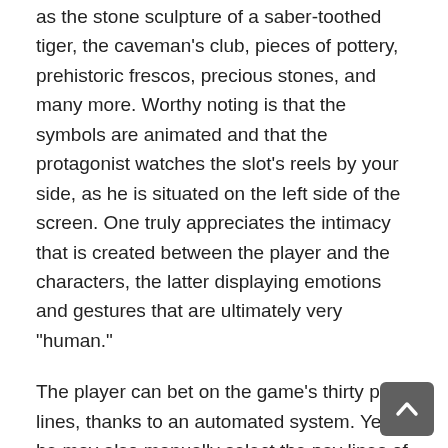as the stone sculpture of a saber-toothed tiger, the caveman's club, pieces of pottery, prehistoric frescos, precious stones, and many more. Worthy noting is that the symbols are animated and that the protagonist watches the slot's reels by your side, as he is situated on the left side of the screen. One truly appreciates the intimacy that is created between the player and the characters, the latter displaying emotions and gestures that are ultimately very "human."
The player can bet on the game's thirty pay lines, thanks to an automated system. Yet, he may also manually select the pay lines of his choice. He can also place between 1 and 5 credits per pay line, the betting capacities ranging from $0.02 to $0.50 per credit.
Bonuses and payouts
2 Million B.C. has three unique features that can be unlocked by the...